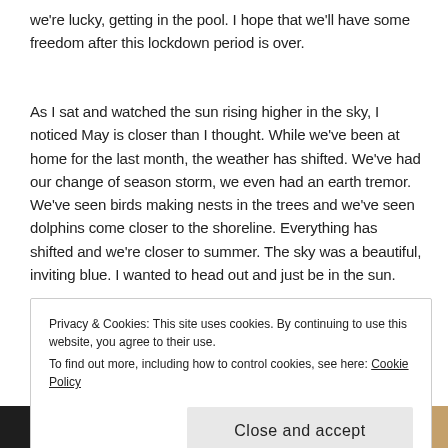we're lucky, getting in the pool. I hope that we'll have some freedom after this lockdown period is over.
As I sat and watched the sun rising higher in the sky, I noticed May is closer than I thought. While we've been at home for the last month, the weather has shifted. We've had our change of season storm, we even had an earth tremor. We've seen birds making nests in the trees and we've seen dolphins come closer to the shoreline. Everything has shifted and we're closer to summer. The sky was a beautiful, inviting blue. I wanted to head out and just be in the sun.
Privacy & Cookies: This site uses cookies. By continuing to use this website, you agree to their use.
To find out more, including how to control cookies, see here: Cookie Policy
[Figure (photo): Bottom strip of a photo showing sky and wooden structure]